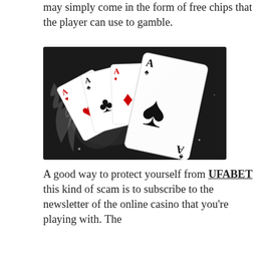may simply come in the form of free chips that the player can use to gamble.
[Figure (illustration): Four playing cards fanned out showing four aces (Ace of Hearts, Ace of Clubs, Ace of Diamonds, Ace of Spades) against a dark background with a smoky/flame effect. The Ace of Spades is the frontmost card and largest.]
A good way to protect yourself from UFABET this kind of scam is to subscribe to the newsletter of the online casino that you're playing with. The